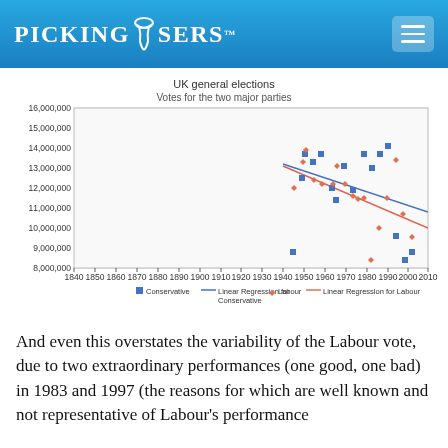PICKING LOSERS
[Figure (scatter-plot): Scatter plot showing UK general election votes for Conservative (blue squares) and Labour (red diamonds) parties from 1945 to 2010, with linear regression lines for each party showing declining trends.]
And even this overstates the variability of the Labour vote, due to two extraordinary performances (one good, one bad) in 1983 and 1997 (the reasons for which are well known and not representative of Labour's performance